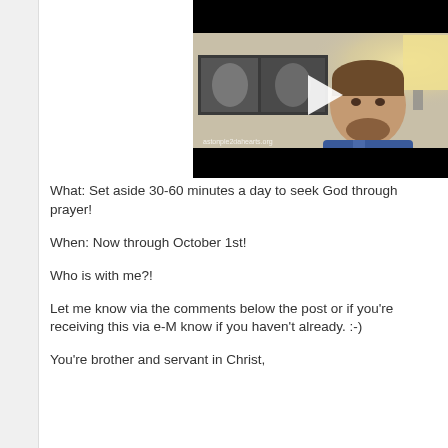[Figure (screenshot): Video thumbnail showing a man in a blue shirt sitting in front of a wall with framed artwork and a lamp. A white play button triangle is overlaid on the video. A black letterbox bar appears at the top. Watermark text 'astonple2dahearts.org' appears at bottom left of the video frame.]
What: Set aside 30-60 minutes a day to seek God through prayer!
When: Now through October 1st!
Who is with me?!
Let me know via the comments below the post or if you're receiving this via e-M know if you haven't already. :-)
You're brother and servant in Christ,